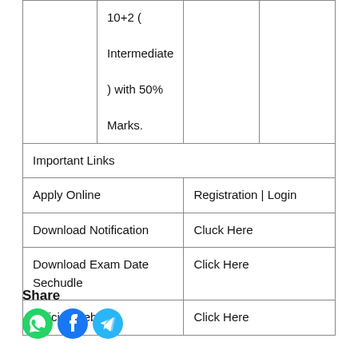|  | 10+2 (Intermediate) with 50% Marks. |  |  |
| Important Links |  |  |  |
| Apply Online | Registration | Login |  |  |
| Download Notification | Cluck Here |  |  |
| Download Exam Date Sechudle | Click Here |  |  |
| Official Website | Click Here |  |  |
Share
[Figure (illustration): Three social media icons: WhatsApp (green), Facebook (dark blue), Telegram (light blue)]